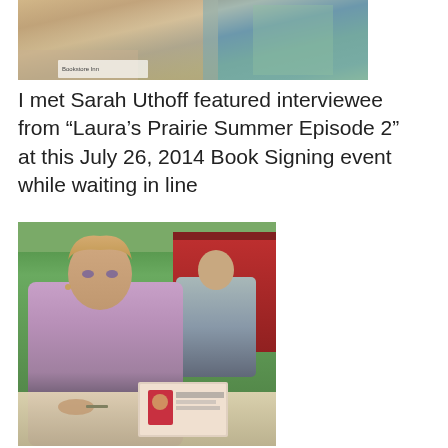[Figure (photo): Partial photo showing two people from the shoulders/chest area, taken outdoors at a book signing event. Colorful background visible.]
I met Sarah Uthoff featured interviewee from “Laura’s Prairie Summer Episode 2” at this July 26, 2014 Book Signing event while waiting in line
[Figure (photo): Photo of a woman with short blonde hair wearing a purple/lavender wrap or shawl, sitting at a table at a book signing event. She appears to be signing books. A man in a gray t-shirt is visible in the background. Red barn and green grass visible behind them. Books and papers are on the table in front of her.]